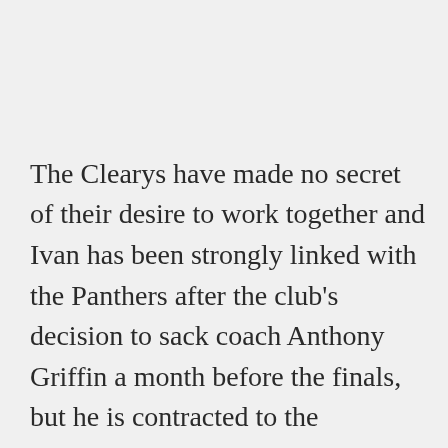The Clearys have made no secret of their desire to work together and Ivan has been strongly linked with the Panthers after the club's decision to sack coach Anthony Griffin a month before the finals, but he is contracted to the